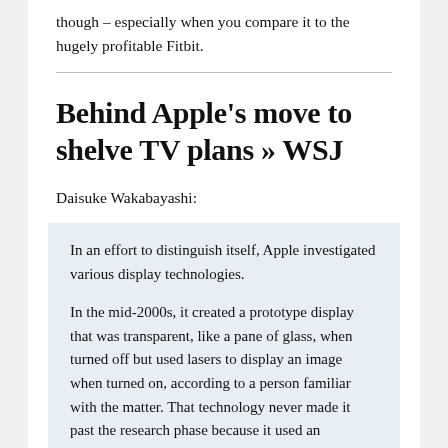though – especially when you compare it to the hugely profitable Fitbit.
Behind Apple's move to shelve TV plans » WSJ
Daisuke Wakabayashi:
In an effort to distinguish itself, Apple investigated various display technologies.
In the mid-2000s, it created a prototype display that was transparent, like a pane of glass, when turned off but used lasers to display an image when turned on, according to a person familiar with the matter. That technology never made it past the research phase because it used an enormous amount of